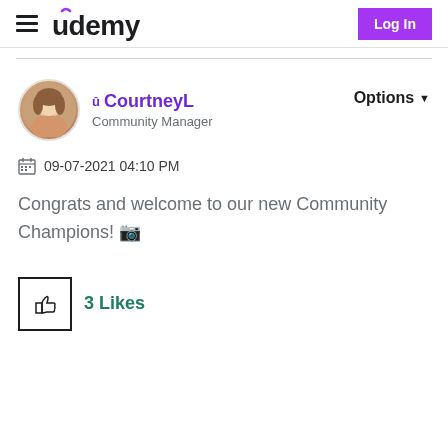Udemy | Log In
[Figure (logo): Udemy logo with hamburger menu on left and Log In button on right]
[Figure (photo): Round profile photo of CourtneyL, a woman with brown hair smiling]
CourtneyL
Community Manager
Options
09-07-2021 04:10 PM
Congrats and welcome to our new Community Champions! 🎉
3 Likes